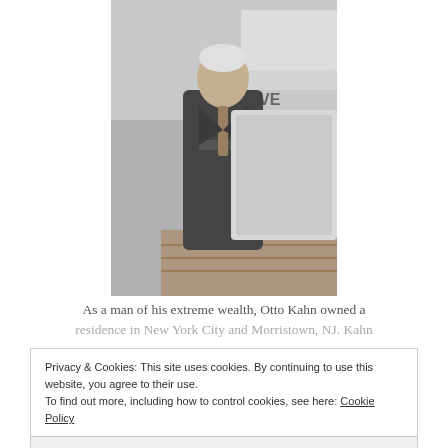[Figure (photo): Black and white photograph of Otto Kahn, an older gentleman in a suit standing on what appears to be the deck of a ship, with lifeboats visible in the background.]
As a man of his extreme wealth, Otto Kahn owned a residence in New York City and Morristown, NJ. Kahn
Privacy & Cookies: This site uses cookies. By continuing to use this website, you agree to their use.
To find out more, including how to control cookies, see here: Cookie Policy
Close and accept